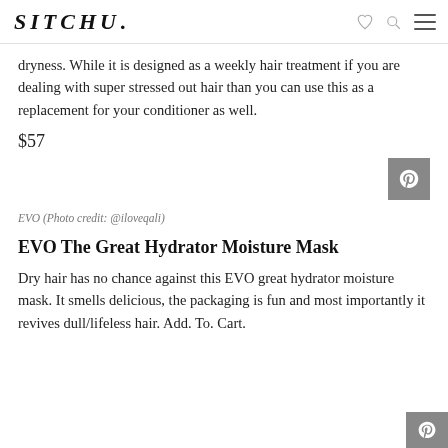SITCHU.
dryness. While it is designed as a weekly hair treatment if you are dealing with super stressed out hair than you can use this as a replacement for your conditioner as well.
$57
EVO (Photo credit: @iloveqali)
EVO The Great Hydrator Moisture Mask
Dry hair has no chance against this EVO great hydrator moisture mask. It smells delicious, the packaging is fun and most importantly it revives dull/lifeless hair. Add. To. Cart.